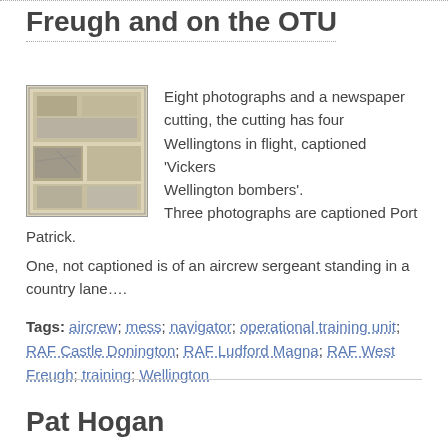Freugh and on the OTU
[Figure (photo): Small photograph showing multiple images/documents laid out, appears to be wartime photographs and papers]
Eight photographs and a newspaper cutting, the cutting has four Wellingtons in flight, captioned 'Vickers Wellington bombers'. Three photographs are captioned Port Patrick. One, not captioned is of an aircrew sergeant standing in a country lane….
Tags: aircrew; mess; navigator; operational training unit; RAF Castle Donington; RAF Ludford Magna; RAF West Freugh; training; Wellington
Pat Hogan